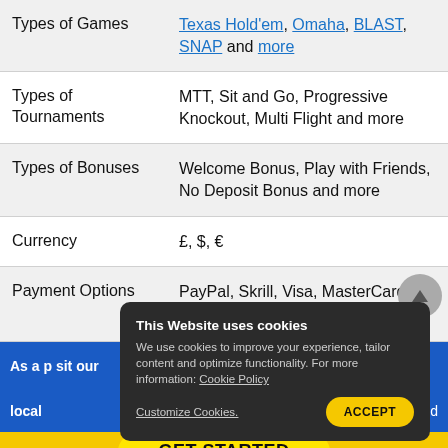| Category | Details |
| --- | --- |
| Types of Games | Texas Hold'em, Omaha, BLAST, SNAP and more |
| Types of Tournaments | MTT, Sit and Go, Progressive Knockout, Multi Flight and more |
| Types of Bonuses | Welcome Bonus, Play with Friends, No Deposit Bonus and more |
| Currency | £, $, € |
| Payment Options | PayPal, Skrill, Visa, MasterCard, Wire Transfer and more |
As a player... visit our local...
GET STARTED
This Website uses cookies
We use cookies to improve your experience, tailor content and optimize functionality. For more information: Cookie Policy
Customize Cookies.  ACCEPT